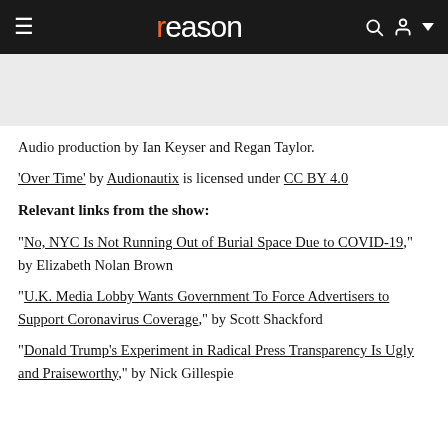reason
[Figure (other): Gray advertisement placeholder banner]
Audio production by Ian Keyser and Regan Taylor.
'Over Time' by Audionautix is licensed under CC BY 4.0
Relevant links from the show:
"No, NYC Is Not Running Out of Burial Space Due to COVID-19," by Elizabeth Nolan Brown
"U.K. Media Lobby Wants Government To Force Advertisers to Support Coronavirus Coverage," by Scott Shackford
"Donald Trump's Experiment in Radical Press Transparency Is Ugly and Praiseworthy," by Nick Gillespie